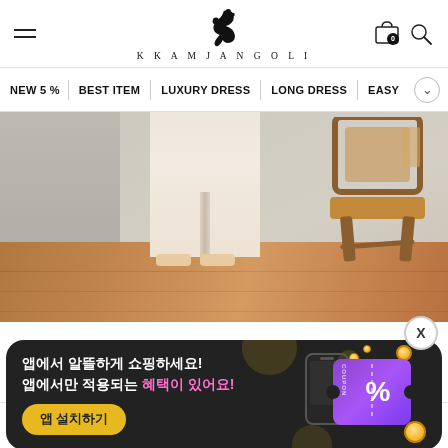KKAMJANGOLI
NEW 5%
BEST ITEM
LUXURY DRESS
LONG DRESS
EASY
[Figure (photo): Fashion hero image showing lower half of person in white pencil dress with slit, standing on wooden floor beside wooden chair]
X
앱에서 알뜰하게 쇼핑하세요!
앱에서만 적용되는 혜택이 있어요!
앱 설치하기
홈화면 카테고리 찜목록 마이페이지 장바구니